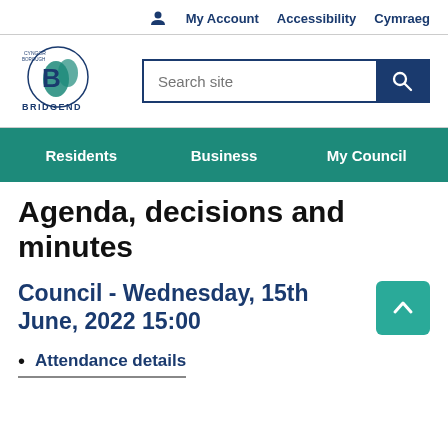My Account   Accessibility   Cymraeg
[Figure (logo): Bridgend County Borough Council logo — circular emblem with stylized B and tree/globe motifs, with 'BRIDGEND' text below]
Agenda, decisions and minutes
Council - Wednesday, 15th June, 2022 15:00
Attendance details